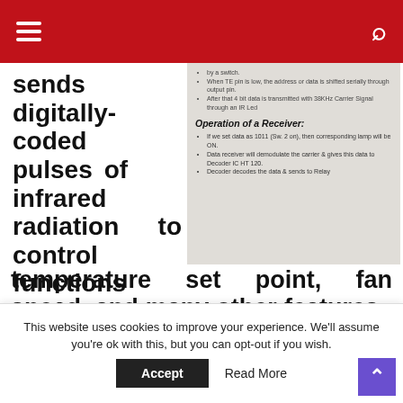Navigation bar with hamburger menu and search icon
sends digitally-coded pulses of infrared radiation to control functions such as turning on lights, power, volume, tuning,
[Figure (screenshot): Document excerpt showing bullet points about IR transmitter operation and a section titled 'Operation of a Receiver:' with bullet points about data decoding and relay control.]
temperature set point, fan speed, and many other features. Remote control
This website uses cookies to improve your experience. We'll assume you're ok with this, but you can opt-out if you wish.